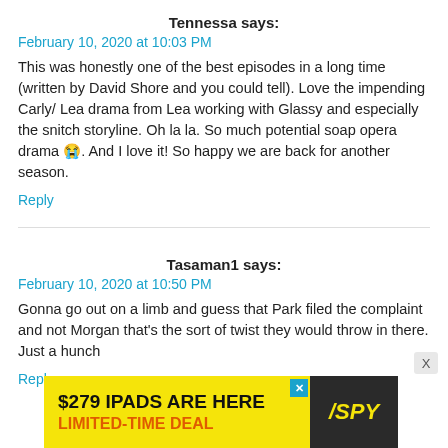Tennessa says:
February 10, 2020 at 10:03 PM
This was honestly one of the best episodes in a long time (written by David Shore and you could tell). Love the impending Carly/ Lea drama from Lea working with Glassy and especially the snitch storyline. Oh la la. So much potential soap opera drama 😭. And I love it! So happy we are back for another season.
Reply
Tasaman1 says:
February 10, 2020 at 10:50 PM
Gonna go out on a limb and guess that Park filed the complaint and not Morgan that's the sort of twist they would throw in there. Just a hunch
Reply
[Figure (infographic): Advertisement banner: '$279 IPADS ARE HERE LIMITED-TIME DEAL' with SPY logo on dark background]